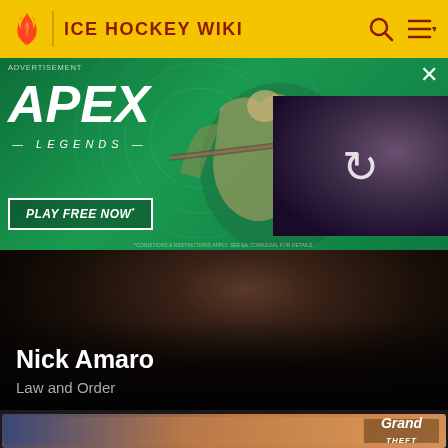ICE HOCKEY WIKI
[Figure (screenshot): Apex Legends advertisement banner with green background, character with sniper rifle, 'PLAY FREE NOW*' button, and a reload icon overlay with purple background character]
ADVERTISEMENT
[Figure (screenshot): Nick Amaro card - dark background with man's face silhouette]
Nick Amaro
Law and Order
[Figure (screenshot): Grand Theft Auto card with illustrated characters on warm orange/purple sky background with GRAND THEFT AUTO logo]